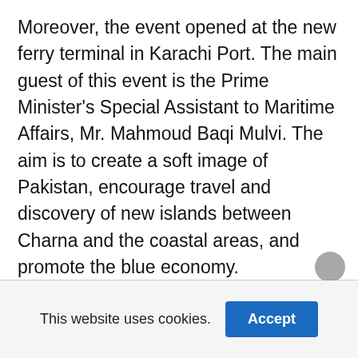Moreover, the event opened at the new ferry terminal in Karachi Port. The main guest of this event is the Prime Minister's Special Assistant to Maritime Affairs, Mr. Mahmoud Baqi Mulvi. The aim is to create a soft image of Pakistan, encourage travel and discovery of new islands between Charna and the coastal areas, and promote the blue economy.
This website uses cookies.